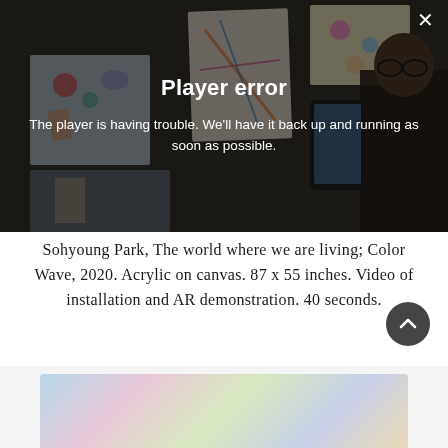[Figure (screenshot): Video player showing a player error message overlaid on a dimmed image of an art installation with colorful paintings and a person holding a phone. Error message reads: 'Player error — The player is having trouble. We'll have it back up and running as soon as possible.' A close (X) button appears top-right.]
Sohyoung Park, The world where we are living; Color Wave, 2020. Acrylic on canvas. 87 x 55 inches. Video of installation and AR demonstration. 40 seconds.
[Figure (photo): Partial bottom of page showing the top edge of a colorful artwork image with pastel watercolor-like colors.]